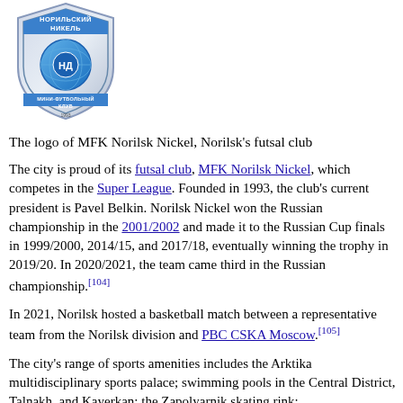[Figure (logo): Shield-shaped logo of MFK Norilsk Nickel futsal club with blue and silver colors, featuring Cyrillic text НОРИЛЬСКИЙ НИКЕЛЬ at the top and МИНИ-ФУТБОЛЬНЫЙ КЛУБ at the bottom, with a globe/ball motif in the center]
The logo of MFK Norilsk Nickel, Norilsk's futsal club
The city is proud of its futsal club, MFK Norilsk Nickel, which competes in the Super League. Founded in 1993, the club's current president is Pavel Belkin. Norilsk Nickel won the Russian championship in the 2001/2002 and made it to the Russian Cup finals in 1999/2000, 2014/15, and 2017/18, eventually winning the trophy in 2019/20. In 2020/2021, the team came third in the Russian championship.[104]
In 2021, Norilsk hosted a basketball match between a representative team from the Norilsk division and PBC CSKA Moscow.[105]
The city's range of sports amenities includes the Arktika multidisciplinary sports palace; swimming pools in the Central District, Talnakh, and Kayerkan; the Zapolyarnik skating rink;...